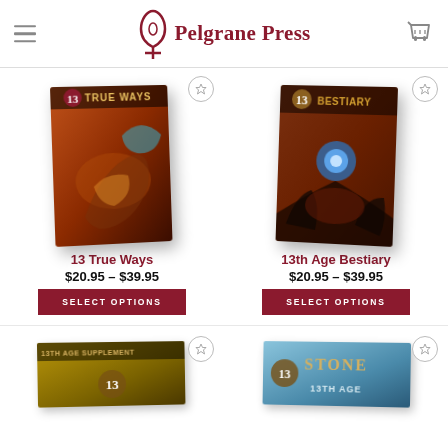Pelgrane Press
[Figure (illustration): Book cover: 13 True Ways - fantasy dragon artwork on red/orange background]
13 True Ways
$20.95 – $39.95
SELECT OPTIONS
[Figure (illustration): Book cover: 13th Age Bestiary - fantasy characters with glowing orb]
13th Age Bestiary
$20.95 – $39.95
SELECT OPTIONS
[Figure (illustration): Book cover: 13th Age supplement - partially visible at bottom]
[Figure (illustration): Book cover: 13th Age Stone supplement - partially visible at bottom]